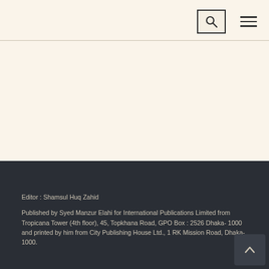Editor : Shamsul Huq Zahid
Published by Syed Manzur Elahi for International Publications Limited from Tropicana Tower (4th floor), 45, Topkhana Road, GPO Box : 2526 Dhaka- 1000 and printed by him from City Publishing House Ltd., 1 RK Mission Road, Dhaka-1000.